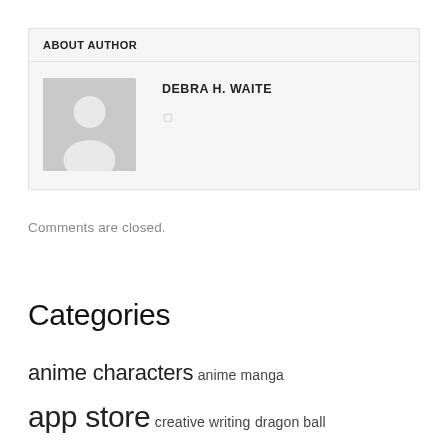ABOUT AUTHOR
DEBRA H. WAITE
[Figure (illustration): Default user avatar silhouette in gray]
Comments are closed.
Categories
anime characters  anime manga
app store  creative writing  dragon ball